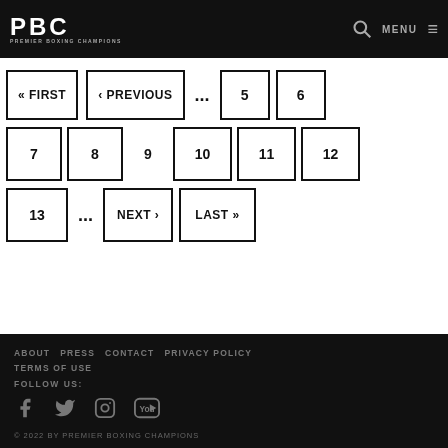PBC PREMIER BOXING CHAMPIONS — MENU
« FIRST
‹ PREVIOUS
...
5
6
7
8
9
10
11
12
13
...
NEXT ›
LAST »
ABOUT  PRESS  CONTACT  PRIVACY POLICY  TERMS OF USE  FOLLOW US:  © 2022 BY PREMIER BOXING CHAMPIONS